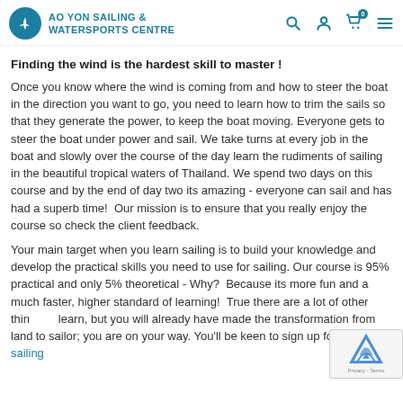AO YON SAILING & WATERSPORTS CENTRE
Finding the wind is the hardest skill to master !
Once you know where the wind is coming from and how to steer the boat in the direction you want to go, you need to learn how to trim the sails so that they generate the power, to keep the boat moving. Everyone gets to steer the boat under power and sail. We take turns at every job in the boat and slowly over the course of the day learn the rudiments of sailing in the beautiful tropical waters of Thailand. We spend two days on this course and by the end of day two its amazing - everyone can sail and has had a superb time! Our mission is to ensure that you really enjoy the course so check the client feedback.
Your main target when you learn sailing is to build your knowledge and develop the practical skills you need to use for sailing. Our course is 95% practical and only 5% theoretical - Why?  Because its more fun and a much faster, higher standard of learning!  True there are a lot of other things to learn, but you will already have made the transformation from landlubber to sailor; you are on your way. You'll be keen to sign up for your next sailing